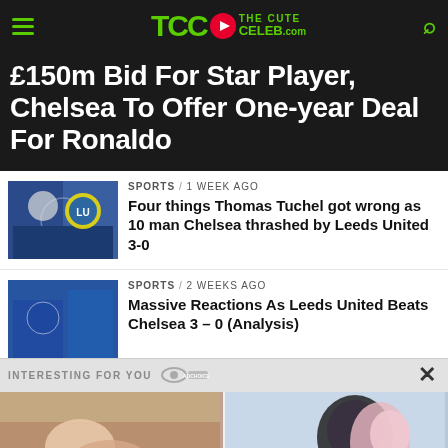TheCuteCeleb.com
£150m Bid For Star Player, Chelsea To Offer One-year Deal For Ronaldo
SPORTS / 1 week ago
Four things Thomas Tuchel got wrong as 10 man Chelsea thrashed by Leeds United 3-0
SPORTS / 2 weeks ago
Massive Reactions As Leeds United Beats Chelsea 3 – 0 (Analysis)
INTERESTING FOR YOU
She Teaches Him How To Shed His
Which Country Is The Most Romantic